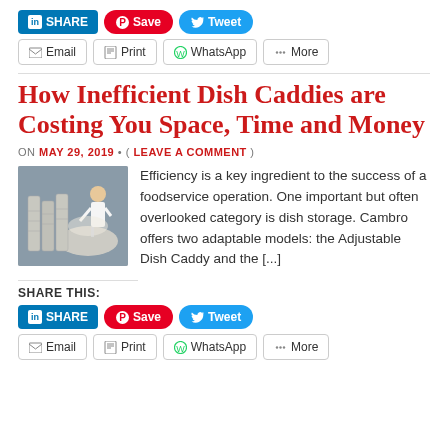[Figure (other): Social share buttons row: LinkedIn SHARE, Pinterest Save, Twitter Tweet]
[Figure (other): Secondary share buttons row: Email, Print, WhatsApp, More]
How Inefficient Dish Caddies are Costing You Space, Time and Money
ON MAY 29, 2019 • ( LEAVE A COMMENT )
[Figure (photo): Restaurant/banquet scene with stacked dish caddies and a server in the background]
Efficiency is a key ingredient to the success of a foodservice operation. One important but often overlooked category is dish storage. Cambro offers two adaptable models: the Adjustable Dish Caddy and the [...]
SHARE THIS:
[Figure (other): Social share buttons row: LinkedIn SHARE, Pinterest Save, Twitter Tweet]
[Figure (other): Secondary share buttons row: Email, Print, WhatsApp, More]